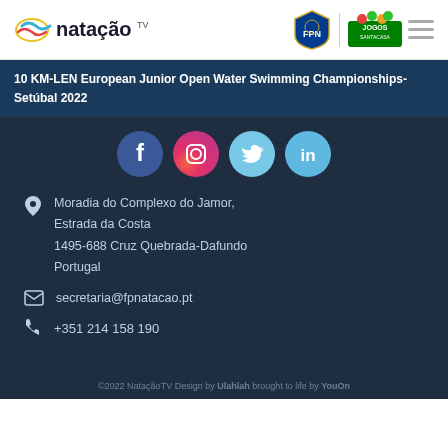natação TV — FPN | Jogos Santa Casa
10 KM-LEN European Junior Open Water Swimming Championships-Setúbal 2022
[Figure (illustration): Social media icons: Facebook (blue circle), Instagram (pink circle), Twitter (light blue circle), LinkedIn (teal circle)]
Moradia do Complexo do Jamor, Estrada da Costa
1495-688 Cruz Quebrada-Dafundo
Portugal
secretaria@fpnatacao.pt
+351 214 158 190
©2022 NataçãoTV Design by Ulahlah brought to life by YouOn